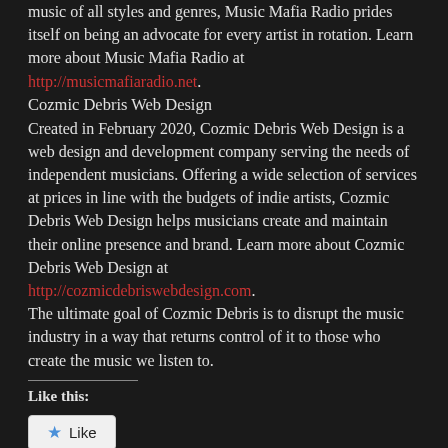music of all styles and genres, Music Mafia Radio prides itself on being an advocate for every artist in rotation. Learn more about Music Mafia Radio at http://musicmafiaradio.net.
Cozmic Debris Web Design
Created in February 2020, Cozmic Debris Web Design is a web design and development company serving the needs of independent musicians. Offering a wide selection of services at prices in line with the budgets of indie artists, Cozmic Debris Web Design helps musicians create and maintain their online presence and brand. Learn more about Cozmic Debris Web Design at http://cozmicdebriswebdesign.com.
The ultimate goal of Cozmic Debris is to disrupt the music industry in a way that returns control of it to those who create the music we listen to.
Like this:
[Figure (other): Like button widget with star icon]
Be the first to like this.